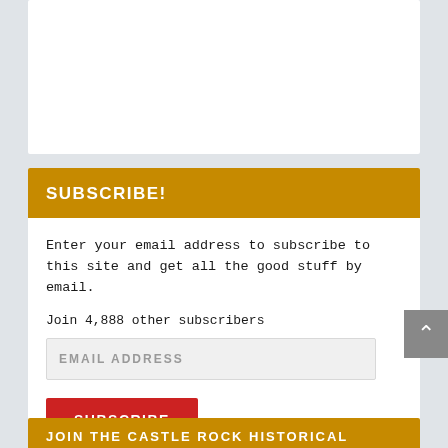[Figure (other): White content card, partially visible at top of page, cropped]
SUBSCRIBE!
Enter your email address to subscribe to this site and get all the good stuff by email.
Join 4,888 other subscribers
EMAIL ADDRESS
SUBSCRIBE
JOIN THE CASTLE ROCK HISTORICAL